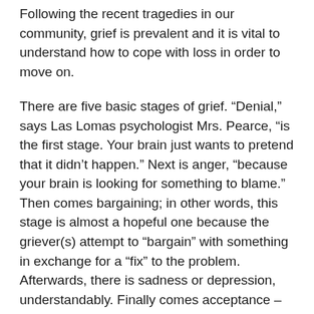Following the recent tragedies in our community, grief is prevalent and it is vital to understand how to cope with loss in order to move on.
There are five basic stages of grief. “Denial,” says Las Lomas psychologist Mrs. Pearce, “is the first stage. Your brain just wants to pretend that it didn’t happen.” Next is anger, “because your brain is looking for something to blame.” Then comes bargaining; in other words, this stage is almost a hopeful one because the griever(s) attempt to “bargain” with something in exchange for a “fix” to the problem. Afterwards, there is sadness or depression, understandably. Finally comes acceptance – you’ve been able to move through all the stages, and then you’re able to get to a place where you understand that it happened and are better able to cope with it.